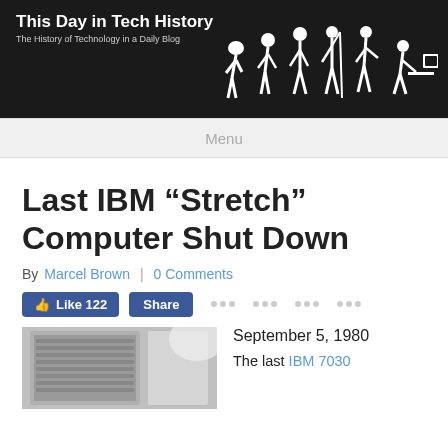[Figure (illustration): Website banner for 'This Day in Tech History' blog with dark background and white silhouette evolution of man to computer user figures. Text reads 'This Day in Tech History' and subtitle 'The History of Technology in a Daily Blog'.]
Menu
Last IBM “Stretch” Computer Shut Down
By Marcel Brown | 0 Comments
[Figure (infographic): Facebook Like (122) and Share buttons, plus four groups of social counter dots]
[Figure (photo): Partial photo of an IBM 7030 Stretch computer, gray cabinet hardware]
September 5, 1980
The last IBM 7030